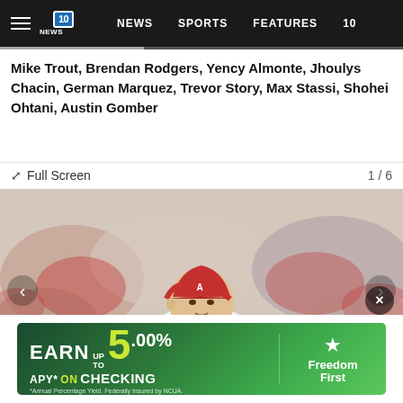NEWS  SPORTS  FEATURES  10
Mike Trout, Brendan Rodgers, Yency Almonte, Jhoulys Chacin, German Marquez, Trevor Story, Max Stassi, Shohei Ohtani, Austin Gomber
Full Screen  1 / 6
[Figure (photo): Baseball pitcher Shohei Ohtani in a white Angels uniform with red cap and red undershirt, in a mid-pitch throwing motion, holding a baseball. Blurred crowd background.]
[Figure (infographic): Advertisement banner: EARN UP TO 5.00% APY* ON CHECKING - Freedom First. Annual Percentage Yield. Federally Insured by NCUA.]